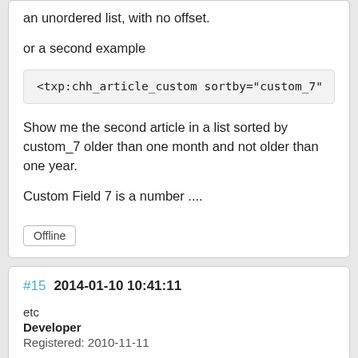an unordered list, with no offset.
or a second example
<txp:chh_article_custom sortby="custom_7"
Show me the second article in a list sorted by custom_7 older than one month and not older than one year.
Custom Field 7 is a number ....
Offline
#15 2014-01-10 10:41:11
etc
Developer
Registered: 2010-11-11